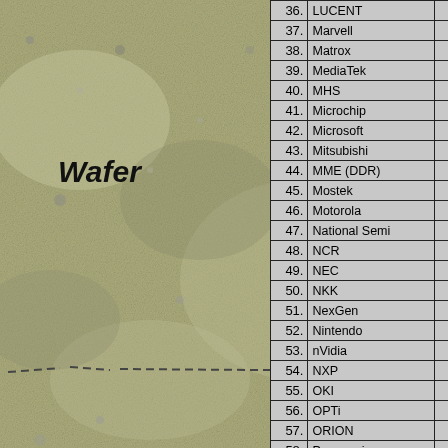[Figure (photo): Close-up photograph of a semiconductor wafer surface showing granular texture. The text 'Wafer' in bold italic is overlaid on the image, along with a dashed line.]
| # | Company | Count |
| --- | --- | --- |
| 36. | LUCENT | 1 |
| 37. | Marvell | 1 |
| 38. | Matrox | 4 |
| 39. | MediaTek | 2 |
| 40. | MHS | 8 |
| 41. | Microchip | 11 |
| 42. | Microsoft | 3 |
| 43. | Mitsubishi | 19 |
| 44. | MME (DDR) | 5 |
| 45. | Mostek | 1 |
| 46. | Motorola | 67 |
| 47. | National Semi | 3 |
| 48. | NCR | 2 |
| 49. | NEC | 49 |
| 50. | NKK | 1 |
| 51. | NexGen | 2 |
| 52. | Nintendo | 2 |
| 53. | nVidia | 22 |
| 54. | NXP | 2 |
| 55. | OKI | 4 |
| 56. | OPTi | 1 |
| 57. | ORION | 1 |
| 58. | Panasonic | 2 |
| 59. | Philips | 17 |
| 60. | PICO|POWER | 1 |